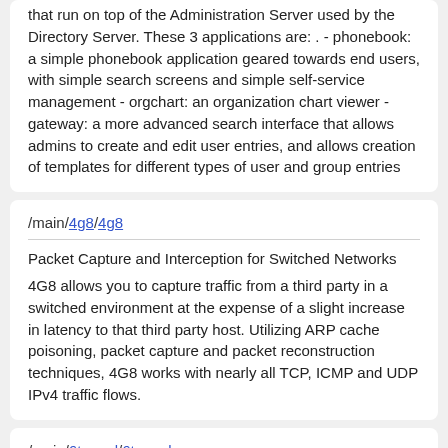that run on top of the Administration Server used by the Directory Server. These 3 applications are: . - phonebook: a simple phonebook application geared towards end users, with simple search screens and simple self-service management - orgchart: an organization chart viewer - gateway: a more advanced search interface that allows admins to create and edit user entries, and allows creation of templates for different types of user and group entries
/main/4g8/4g8
Packet Capture and Interception for Switched Networks
4G8 allows you to capture traffic from a third party in a switched environment at the expense of a slight increase in latency to that third party host. Utilizing ARP cache poisoning, packet capture and packet reconstruction techniques, 4G8 works with nearly all TCP, ICMP and UDP IPv4 traffic flows.
/main/6tunnel/6tunnel